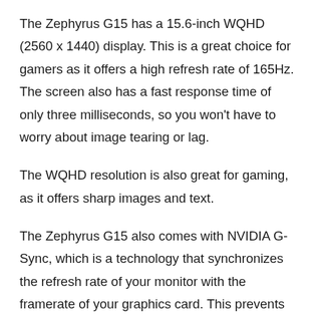The Zephyrus G15 has a 15.6-inch WQHD (2560 x 1440) display. This is a great choice for gamers as it offers a high refresh rate of 165Hz. The screen also has a fast response time of only three milliseconds, so you won't have to worry about image tearing or lag.
The WQHD resolution is also great for gaming, as it offers sharp images and text.
The Zephyrus G15 also comes with NVIDIA G-Sync, which is a technology that synchronizes the refresh rate of your monitor with the framerate of your graphics card. This prevents screen tearing and lag, giving you a smooth gaming experience.